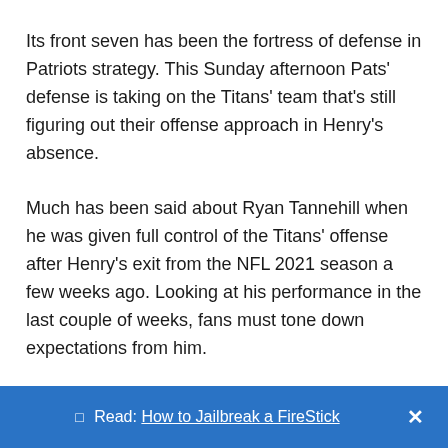Its front seven has been the fortress of defense in Patriots strategy. This Sunday afternoon Pats' defense is taking on the Titans' team that's still figuring out their offense approach in Henry's absence.
Much has been said about Ryan Tannehill when he was given full control of the Titans' offense after Henry's exit from the NFL 2021 season a few weeks ago. Looking at his performance in the last couple of weeks, fans must tone down expectations from him.
🔲 Read: How to Jailbreak a FireStick  X